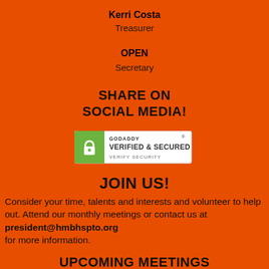Kerri Costa
Treasurer
OPEN
Secretary
SHARE ON SOCIAL MEDIA!
[Figure (logo): GoDaddy Verified & Secured seal with lock icon and 'VERIFY SECURITY' text]
JOIN US!
Consider your time, talents and interests and volunteer to help out.  Attend our monthly meetings or contact us at president@hmbhspto.org for more information.
UPCOMING MEETINGS
The PTO meetings will be in-person on the US...